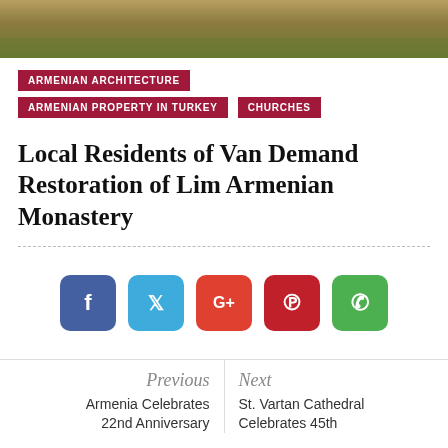[Figure (photo): Partial view of a landscape photo showing dry grass and some green foliage at top]
ARMENIAN ARCHITECTURE
ARMENIAN PROPERTY IN TURKEY
CHURCHES
Local Residents of Van Demand Restoration of Lim Armenian Monastery
[Figure (infographic): Social sharing buttons: Facebook (blue), Twitter (light blue), Google+ (orange-red), Pinterest (dark red), WhatsApp (green)]
Previous
Armenia Celebrates 22nd Anniversary
Next
St. Vartan Cathedral Celebrates 45th